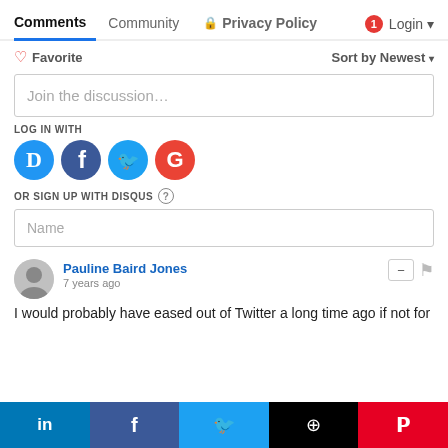Comments  Community  Privacy Policy  1 Login
♡ Favorite   Sort by Newest
Join the discussion…
LOG IN WITH
[Figure (logo): Social login icons: Disqus (D, blue), Facebook (f, dark blue), Twitter (bird, light blue), Google (G, red)]
OR SIGN UP WITH DISQUS ?
Name
Pauline Baird Jones
7 years ago
I would probably have eased out of Twitter a long time ago if not for
[Figure (infographic): Social share bar with LinkedIn, Facebook, Twitter, Buffer, Pinterest buttons]